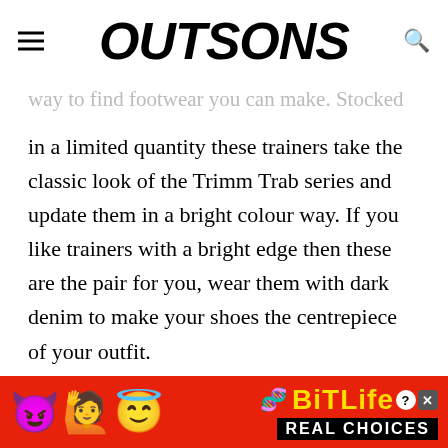OUTSONS
way to find footwear you can make. Stocked in a limited quantity these trainers take the classic look of the Trimm Trab series and update them in a bright colour way. If you like trainers with a bright edge then these are the pair for you, wear them with dark denim to make your shoes the centrepiece of your outfit.
[Figure (screenshot): Advertisement banner for BitLife mobile game with red background, emoji characters (devil, woman, angel face), sperm icon, BitLife logo in yellow with question mark and close button, and 'REAL CHOICES' text on black background]